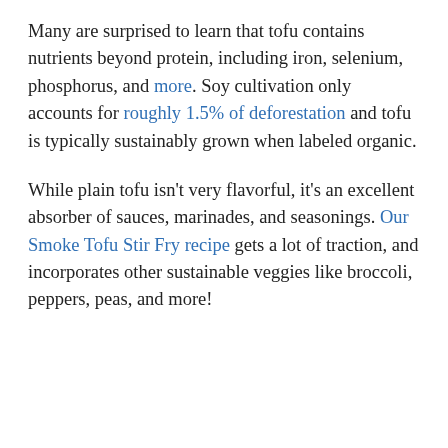Many are surprised to learn that tofu contains nutrients beyond protein, including iron, selenium, phosphorus, and more. Soy cultivation only accounts for roughly 1.5% of deforestation and tofu is typically sustainably grown when labeled organic.
While plain tofu isn't very flavorful, it's an excellent absorber of sauces, marinades, and seasonings. Our Smoke Tofu Stir Fry recipe gets a lot of traction, and incorporates other sustainable veggies like broccoli, peppers, peas, and more!